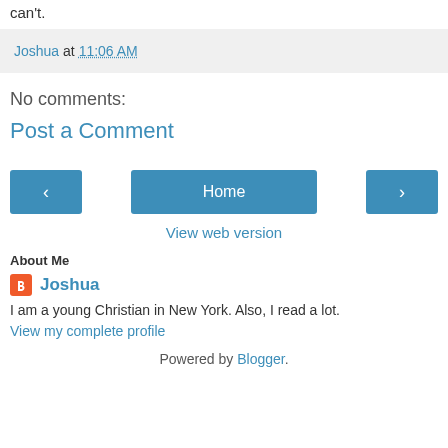can't.
Joshua at 11:06 AM
No comments:
Post a Comment
[Figure (other): Navigation buttons: left arrow, Home, right arrow]
View web version
About Me
Joshua
I am a young Christian in New York. Also, I read a lot.
View my complete profile
Powered by Blogger.